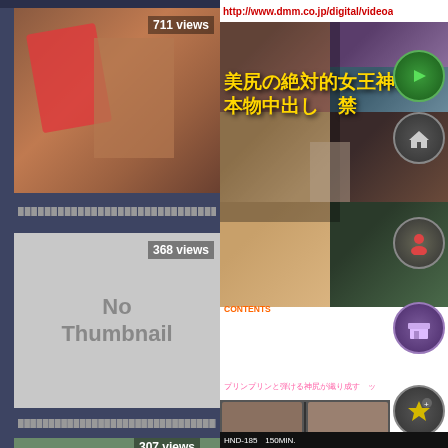[Figure (screenshot): Video thumbnail showing blurred adult content, 711 views badge]
711 views
████████████████████████████████████████...
[Figure (screenshot): No Thumbnail placeholder, 368 views badge]
368 views
No Thumbnail
████████████████████████████████████◇████████
307 views
http://www.dmm.co.jp/digital/videoa
[Figure (screenshot): Japanese adult DVD cover with Japanese text overlay and navigation icons]
美尻の絶対的女王神ユ
本物中出し　禁
CONTENTS
前後から半中半外バック中セン!
人体将棋オイルバック中セ!
玩具責め&尻マンコぶっかけ!
激烈顔射&バック中出し 3発発!
プリンプリンと弾ける神尻が織り成す　ッ
HND-185　150MIN.